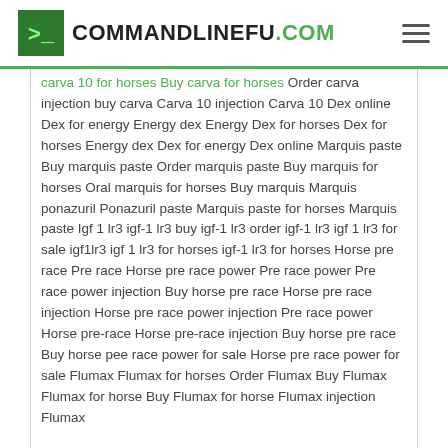COMMANDLINEFU.COM
carva 10 for horses Buy carva for horses Order carva injection buy carva Carva 10 injection Carva 10 Dex online Dex for energy Energy dex Energy Dex for horses Dex for horses Energy dex Dex for energy Dex online Marquis paste Buy marquis paste Order marquis paste Buy marquis for horses Oral marquis for horses Buy marquis Marquis ponazuril Ponazuril paste Marquis paste for horses Marquis paste Igf 1 lr3 igf-1 lr3 buy igf-1 lr3 order igf-1 lr3 igf 1 lr3 for sale igf1lr3 igf 1 lr3 for horses igf-1 lr3 for horses Horse pre race Pre race Horse pre race power Pre race power Pre race power injection Buy horse pre race Horse pre race injection Horse pre race power injection Pre race power Horse pre-race Horse pre-race injection Buy horse pre race Buy horse pee race power for sale Horse pre race power for sale Flumax Flumax for horses Order Flumax Buy Flumax Flumax for horse Buy Flumax for horse Flumax injection Flumax